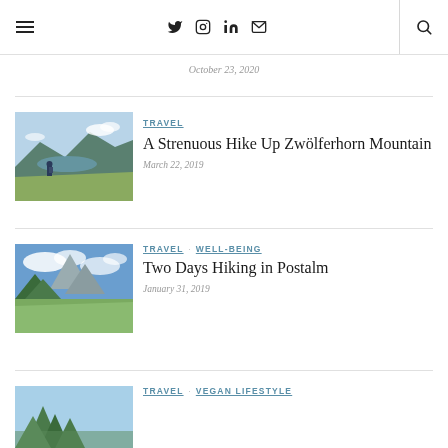Navigation bar with hamburger menu, social icons (Twitter, Instagram, LinkedIn, Mail), and search icon
October 23, 2020
[Figure (photo): Person standing on a mountain ridge overlooking a lake and alpine valley with blue sky]
TRAVEL
A Strenuous Hike Up Zwölferhorn Mountain
March 22, 2019
[Figure (photo): Green mountain meadow with rocky peaks and blue sky with clouds]
TRAVEL  WELL-BEING
Two Days Hiking in Postalm
January 31, 2019
[Figure (photo): Forest scene with trees and bright sky, partially visible]
TRAVEL  VEGAN LIFESTYLE